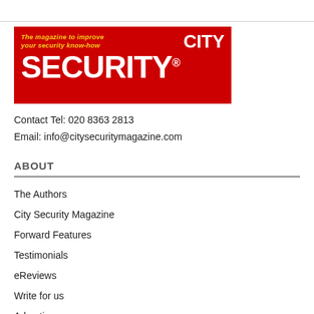[Figure (logo): City Security Magazine logo banner. Red background with yellow italic text 'The magazine to improve your security know-how' and white bold text 'CITY SECURITY®']
Contact Tel: 020 8363 2813
Email: info@citysecuritymagazine.com
ABOUT
The Authors
City Security Magazine
Forward Features
Testimonials
eReviews
Write for us
Advertise